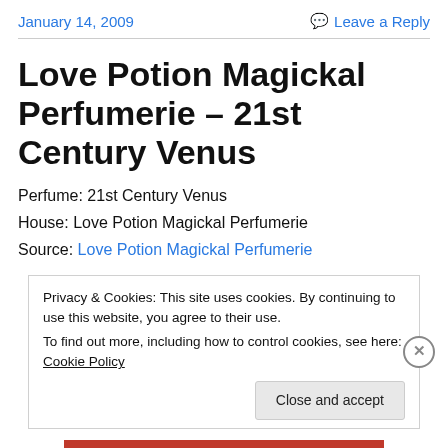January 14, 2009    Leave a Reply
Love Potion Magickal Perfumerie – 21st Century Venus
Perfume: 21st Century Venus
House: Love Potion Magickal Perfumerie
Source: Love Potion Magickal Perfumerie
Privacy & Cookies: This site uses cookies. By continuing to use this website, you agree to their use. To find out more, including how to control cookies, see here: Cookie Policy